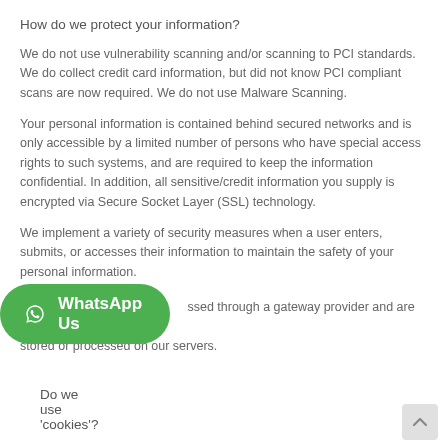How do we protect your information?
We do not use vulnerability scanning and/or scanning to PCI standards. We do collect credit card information, but did not know PCI compliant scans are now required. We do not use Malware Scanning.
Your personal information is contained behind secured networks and is only accessible by a limited number of persons who have special access rights to such systems, and are required to keep the information confidential. In addition, all sensitive/credit information you supply is encrypted via Secure Socket Layer (SSL) technology.
We implement a variety of security measures when a user enters, submits, or accesses their information to maintain the safety of your personal information.
All transactions are processed through a gateway provider and are not stored or processed on our servers.
[Figure (other): WhatsApp Us button overlay with green rounded rectangle and WhatsApp logo icon]
Do we use 'cookies'?